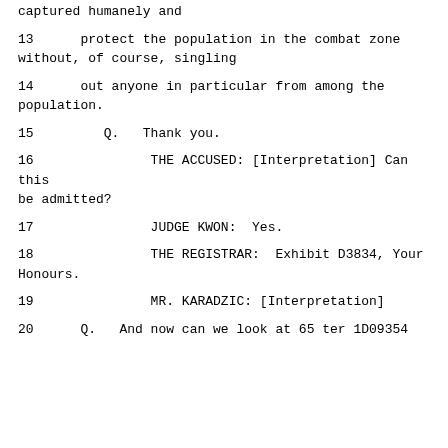captured humanely and
13      protect the population in the combat zone without, of course, singling
14      out anyone in particular from among the population.
15         Q.   Thank you.
16               THE ACCUSED: [Interpretation] Can this be admitted?
17               JUDGE KWON:  Yes.
18               THE REGISTRAR:  Exhibit D3834, Your Honours.
19               MR. KARADZIC: [Interpretation]
20      Q.   And now can we look at 65 ter 1D09354